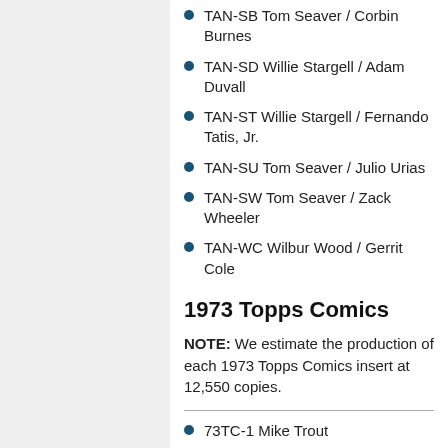TAN-SB Tom Seaver / Corbin Burnes
TAN-SD Willie Stargell / Adam Duvall
TAN-ST Willie Stargell / Fernando Tatis, Jr.
TAN-SU Tom Seaver / Julio Urias
TAN-SW Tom Seaver / Zack Wheeler
TAN-WC Wilbur Wood / Gerrit Cole
1973 Topps Comics
NOTE: We estimate the production of each 1973 Topps Comics insert at 12,550 copies.
73TC-1 Mike Trout